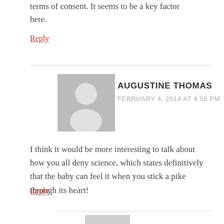terms of consent. It seems to be a key factor here.
Reply
AUGUSTINE THOMAS
FEBRUARY 4, 2014 AT 4:58 PM
I think it would be more interesting to talk about how you all deny science, which states definitively that the baby can feel it when you stick a pike through its heart!
Reply